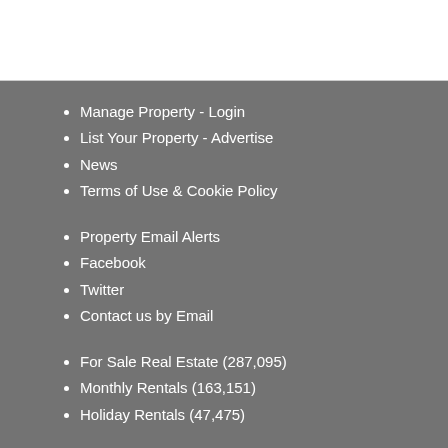Manage Property - Login
List Your Property - Advertise
News
Terms of Use & Cookie Policy
Property Email Alerts
Facebook
Twitter
Contact us by Email
For Sale Real Estate (287,095)
Monthly Rentals (163,151)
Holiday Rentals (47,475)